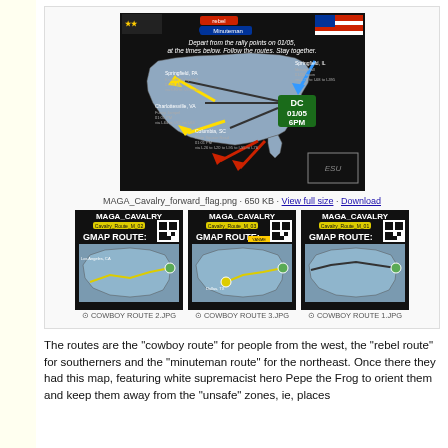[Figure (map): MAGA Cavalry forward flag map showing rally routes to DC 01/05 6PM, with colored arrows from various cities including Springfield PA, Charlottesville VA, Columbia SC, and Springfield IL. Black background with US map outline.]
MAGA_Cavalry_forward_flag.png · 650 KB · View full size · Download
[Figure (map): MAGA_CAVALRY GMAP ROUTE: Cowboy Route 2 - route map from Los Angeles area heading east]
[Figure (map): MAGA_CAVALRY GMAP ROUTE: Cowboy Route 3 - route map from Dallas TX heading northeast]
[Figure (map): MAGA_CAVALRY GMAP ROUTE: Cowboy Route 1 - route map heading east]
COWBOY ROUTE 2.JPG
COWBOY ROUTE 3.JPG
COWBOY ROUTE 1.JPG
The routes are the "cowboy route" for people from the west, the "rebel route" for southerners and the "minuteman route" for the northeast. Once there they had this map, featuring white supremacist hero Pepe the Frog to orient them and keep them away from the "unsafe" zones, ie, places